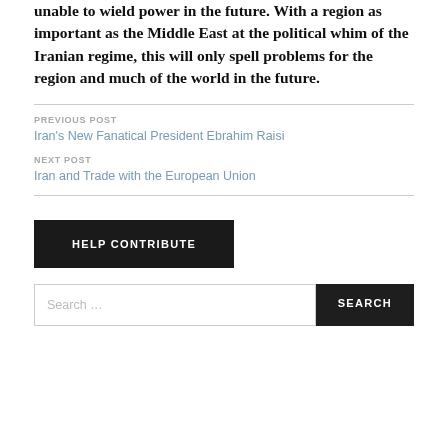unable to wield power in the future. With a region as important as the Middle East at the political whim of the Iranian regime, this will only spell problems for the region and much of the world in the future.
PREVIOUS POST
Iran's New Fanatical President Ebrahim Raisi
NEXT POST
Iran and Trade with the European Union
HELP CONTRIBUTE
Search …
SEARCH